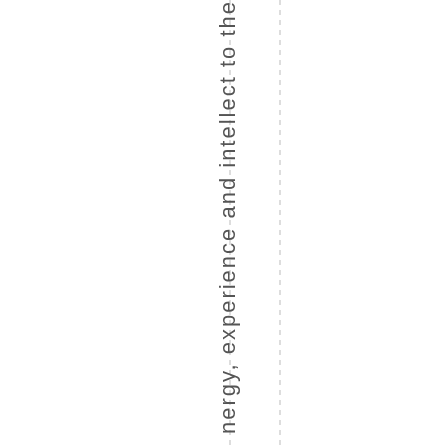nergy, experience and intellect to the